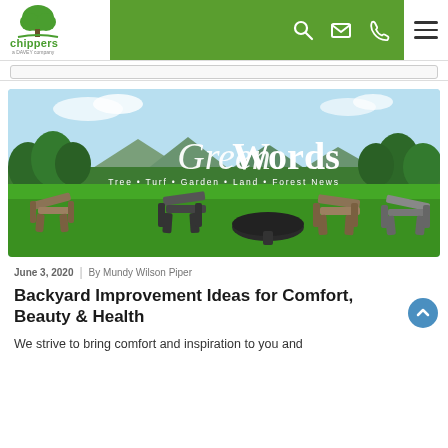[Figure (logo): Chippers by Davey logo with green tree icon and text]
[Figure (photo): GreenWords newsletter hero image showing Adirondack chairs and a fire pit table on a green lawn with mountain and tree background. Text overlay reads 'GreenWords' and 'Tree • Turf • Garden • Land • Forest News']
June 3, 2020  |  By Mundy Wilson Piper
Backyard Improvement Ideas for Comfort, Beauty & Health
We strive to bring comfort and inspiration to you and